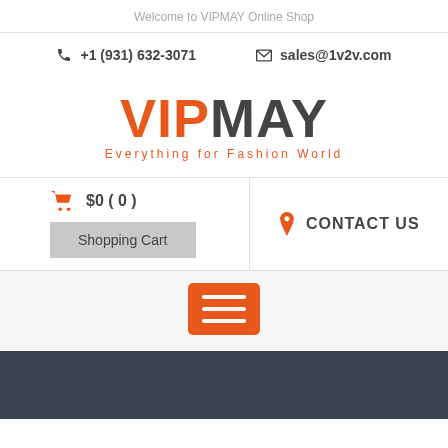Welcome to VIPMAY Online Shop
+1 (931) 632-3071   sales@1v2v.com
VIPMAY
Everything for Fashion World
$0 ( 0 )
Shopping Cart
CONTACT US
[Figure (infographic): Orange hamburger menu button with three white lines]